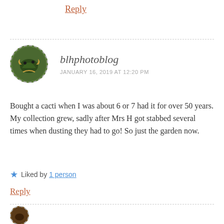Reply
blhphotoblog
JANUARY 16, 2019 AT 12:20 PM
Bought a cacti when I was about 6 or 7 had it for over 50 years.  My collection grew, sadly after Mrs H got stabbed several times when dusting they had to go! So just the garden now.
Liked by 1 person
Reply